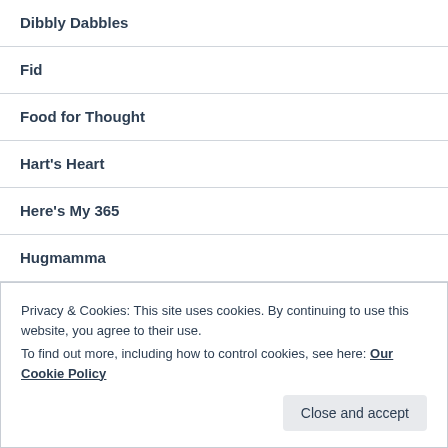Dibbly Dabbles
Fid
Food for Thought
Hart's Heart
Here's My 365
Hugmamma
Inside Out Cafe
Privacy & Cookies: This site uses cookies. By continuing to use this website, you agree to their use. To find out more, including how to control cookies, see here: Our Cookie Policy
Close and accept